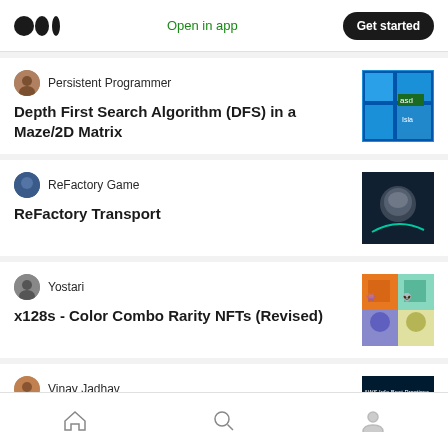Medium logo | Open in app | Get started
[Figure (screenshot): Medium mobile app feed screenshot showing article listings]
Persistent Programmer
Depth First Search Algorithm (DFS) in a Maze/2D Matrix
ReFactory Game
ReFactory Transport
Yostari
x128s - Color Combo Rarity NFTs (Revised)
Vinay Jadhav
Home | Search | Profile